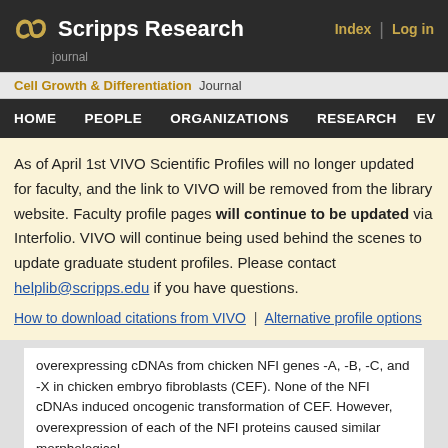Scripps Research | Index | Log in | journal
Cell Growth & Differentiation  Journal
HOME  PEOPLE  ORGANIZATIONS  RESEARCH  EV
As of April 1st VIVO Scientific Profiles will no longer updated for faculty, and the link to VIVO will be removed from the library website. Faculty profile pages will continue to be updated via Interfolio. VIVO will continue being used behind the scenes to update graduate student profiles. Please contact helplib@scripps.edu if you have questions.
How to download citations from VIVO | Alternative profile options
overexpressing cDNAs from chicken NFI genes -A, -B, -C, and -X in chicken embryo fibroblasts (CEF). None of the NFI cDNAs induced oncogenic transformation of CEF. However, overexpression of each of the NFI proteins caused similar morphological